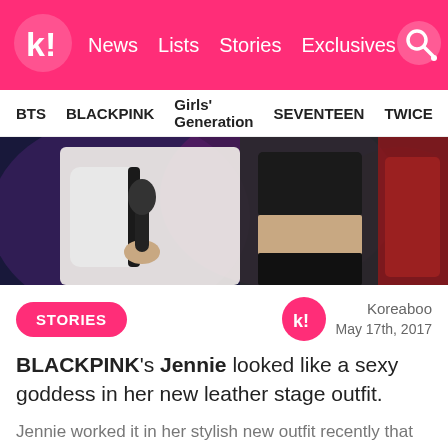Koreaboo – News Lists Stories Exclusives
BTS  BLACKPINK  Girls' Generation  SEVENTEEN  TWICE
[Figure (photo): Concert photo showing a performer holding a microphone, wearing black leather crop top and shorts with a white jacket visible on the left side and red outfit on the right. Stage lighting in background.]
STORIES
Koreaboo
May 17th, 2017
BLACKPINK's Jennie looked like a sexy goddess in her new leather stage outfit.
Jennie worked it in her stylish new outfit recently that was made of black shorts and an adorable leather crop top.
The outfit was paired with Jennie's new accessories and